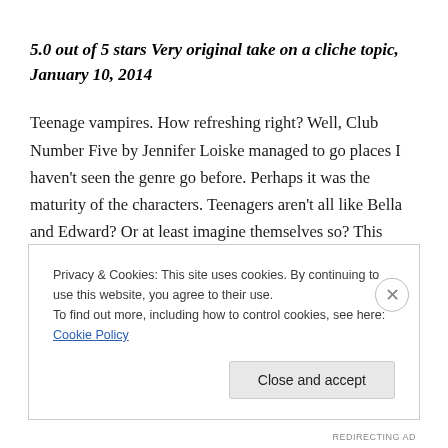5.0 out of 5 stars Very original take on a cliche topic, January 10, 2014
Teenage vampires. How refreshing right? Well, Club Number Five by Jennifer Loiske managed to go places I haven't seen the genre go before. Perhaps it was the maturity of the characters. Teenagers aren't all like Bella and Edward? Or at least imagine themselves so? This book is the first book in a promising series, but I will warn
Privacy & Cookies: This site uses cookies. By continuing to use this website, you agree to their use.
To find out more, including how to control cookies, see here: Cookie Policy
Close and accept
REDIRECTING AD